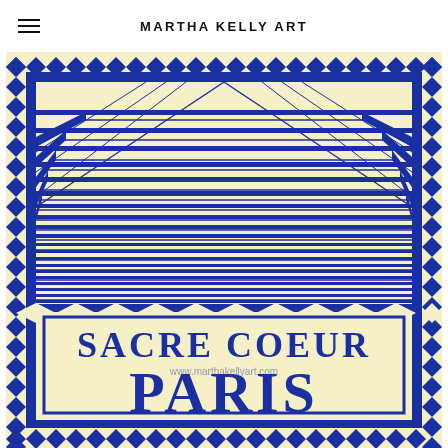MARTHA KELLY ART
[Figure (illustration): Art print of Sacre Coeur Paris steps in blue and cream, Art Nouveau style. Shows diagonal railway steps receding to vanishing point at top, surrounded by diamond/triangle border pattern. Lower section has decorative border frame with text 'SACRE COEUR PARIS' in bold blue Art Nouveau lettering on cream background, with watermark www.marthakellyart.com]